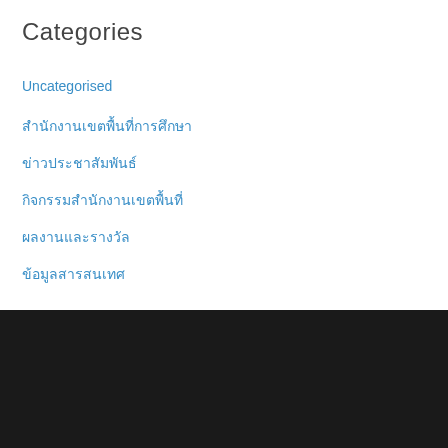Categories
Uncategorised
xxxxxxxxxxxxxxxx
xxxxxxxxxx
xxxxxxxxxxxxxxxx
xxxxxxxxxxxx
xxxxxxxxxxxxx
นักงานเขตพื้นที่การศึกษาประถม